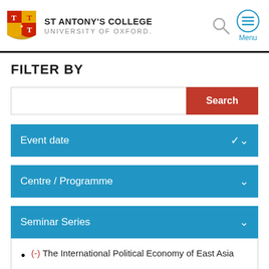ST ANTONY'S COLLEGE UNIVERSITY OF OXFORD.
FILTER BY
Search
Event date
Centre / Programme
Seminar Series
(-) The International Political Economy of East Asia